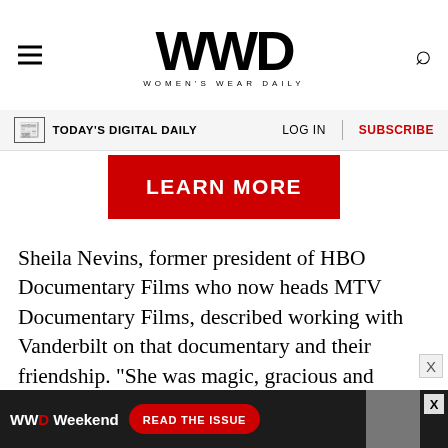WWD WOMEN'S WEAR DAILY
TODAY'S DIGITAL DAILY   LOG IN   SUBSCRIBE
[Figure (other): Red LEARN MORE button]
Sheila Nevins, former president of HBO Documentary Films who now heads MTV Documentary Films, described working with Vanderbilt on that documentary and their friendship. “She was magic, gracious and charming always,” said Nevins. “We had tea together many times. She was hot, she was beautiful, she was timeless. I will miss her presence. Yet I feel her
[Figure (other): WWD Weekend ad banner at bottom with READ THE ISSUE button and photo]